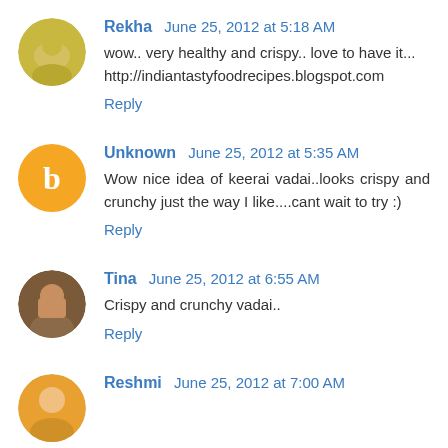Rekha June 25, 2012 at 5:18 AM
wow.. very healthy and crispy.. love to have it... http://indiantastyfoodrecipes.blogspot.com
Reply
Unknown June 25, 2012 at 5:35 AM
Wow nice idea of keerai vadai..looks crispy and crunchy just the way I like....cant wait to try :)
Reply
Tina June 25, 2012 at 6:55 AM
Crispy and crunchy vadai..
Reply
Reshmi June 25, 2012 at 7:00 AM